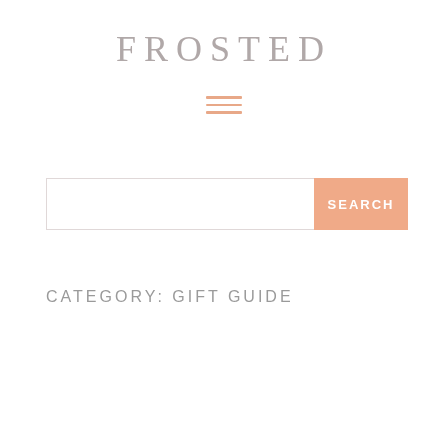FROSTED
[Figure (other): Hamburger menu icon with three horizontal salmon/peach colored lines]
[Figure (other): Search bar with text input field and a peach-colored SEARCH button]
CATEGORY: GIFT GUIDE